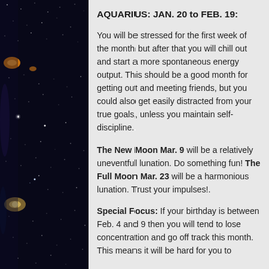[Figure (photo): Space/galaxy background image with stars and galaxies visible on left and right sides of the page]
AQUARIUS: JAN. 20 to FEB. 19:
You will be stressed for the first week of the month but after that you will chill out and start a more spontaneous energy output. This should be a good month for getting out and meeting friends, but you could also get easily distracted from your true goals, unless you maintain self-discipline.
The New Moon Mar. 9 will be a relatively uneventful lunation. Do something fun! The Full Moon Mar. 23 will be a harmonious lunation. Trust your impulses!.
Special Focus: If your birthday is between Feb. 4 and 9 then you will tend to lose concentration and go off track this month. This means it will be hard for you to